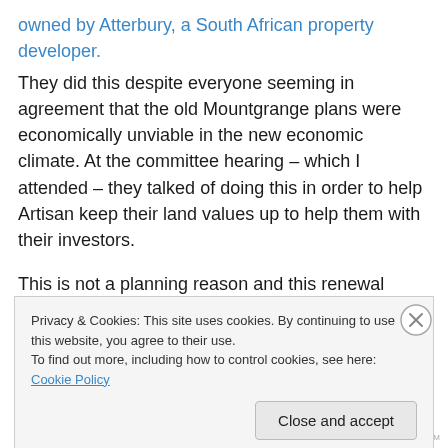owned by Atterbury, a South African property developer.
They did this despite everyone seeming in agreement that the old Mountgrange plans were economically unviable in the new economic climate. At the committee hearing – which I attended – they talked of doing this in order to help Artisan keep their land values up to help them with their investors.
This is not a planning reason and this renewal should not have happened. All but two Councillors on the committee – Councillor Bagshaw and Councillor Mowat – voted to
Privacy & Cookies: This site uses cookies. By continuing to use this website, you agree to their use.
To find out more, including how to control cookies, see here: Cookie Policy